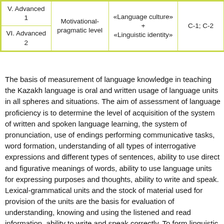| V. Advanced 1 | Motivational-pragmatic level | «Language culture» + «Linguistic identity» | C-1; C-2 |
| VI. Advanced 2 |  |  |  |
The basis of measurement of language knowledge in teaching the Kazakh language is oral and written usage of language units in all spheres and situations. The aim of assessment of language proficiency is to determine the level of acquisition of the system of written and spoken language learning, the system of pronunciation, use of endings performing communicative tasks, word formation, understanding of all types of interrogative expressions and different types of sentences, ability to use direct and figurative meanings of words, ability to use language units for expressing purposes and thoughts, ability to write and speak. Lexical-grammatical units and the stock of material used for provision of the units are the basis for evaluation of understanding, knowing and using the listened and read information, ability to write and speak correctly. To form linguistic identity, in linguistics the following types of speech activity are used: listening, lexis-grammar, reading, writing and speaking. Teaching and assessing knowledge of the Kazakh language are aimed at determination of the level of usage of spoken, written speech, use of language